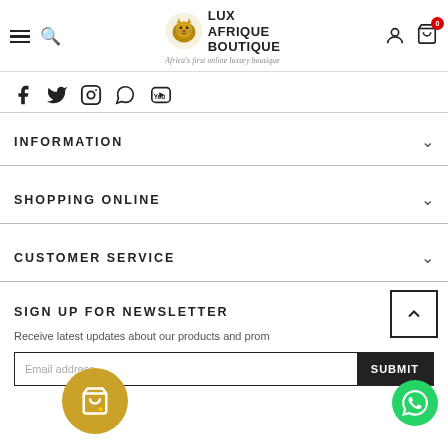[Figure (logo): Lux Afrique Boutique logo with lion head icon and text 'LUX AFRIQUE BOUTIQUE' and tagline 'Africa's first online luxury boutique']
[Figure (illustration): Social media icons row: Facebook, Twitter, Instagram, WhatsApp, YouTube]
INFORMATION
SHOPPING ONLINE
CUSTOMER SERVICE
SIGN UP FOR NEWSLETTER
Receive latest updates about our products and prom
Email address
SUBMIT